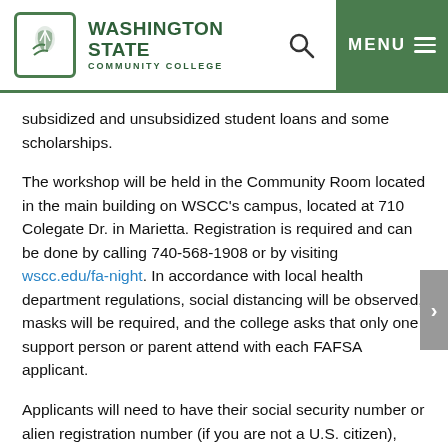Washington State Community College
subsidized and unsubsidized student loans and some scholarships.
The workshop will be held in the Community Room located in the main building on WSCC's campus, located at 710 Colegate Dr. in Marietta. Registration is required and can be done by calling 740-568-1908 or by visiting wscc.edu/fa-night. In accordance with local health department regulations, social distancing will be observed, masks will be required, and the college asks that only one support person or parent attend with each FAFSA applicant.
Applicants will need to have their social security number or alien registration number (if you are not a U.S. citizen), driver's license, 2019 [W-2s], and other records of money earned, know your balance of cash, your savings and checking accounts